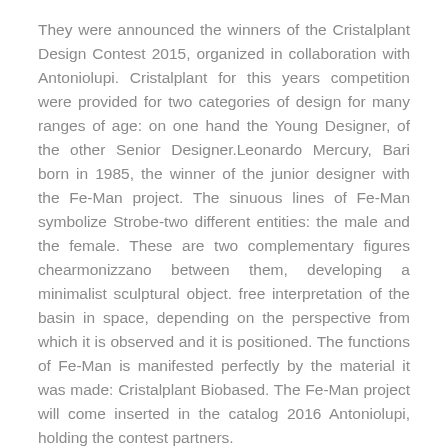They were announced the winners of the Cristalplant Design Contest 2015, organized in collaboration with Antoniolupi. Cristalplant for this years competition were provided for two categories of design for many ranges of age: on one hand the Young Designer, of the other Senior Designer.Leonardo Mercury, Bari born in 1985, the winner of the junior designer with the Fe-Man project. The sinuous lines of Fe-Man symbolize Strobe-two different entities: the male and the female. These are two complementary figures chearmonizzano between them, developing a minimalist sculptural object. free interpretation of the basin in space, depending on the perspective from which it is observed and it is positioned. The functions of Fe-Man is manifested perfectly by the material it was made: Cristalplant Biobased. The Fe-Man project will come inserted in the catalog 2016 Antoniolupi, holding the contest partners.